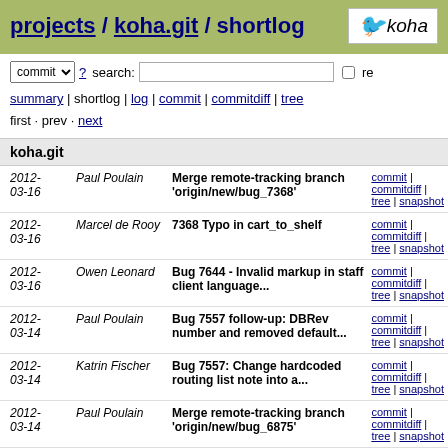projects / koha.git / shortlog
commit ? search: re
summary | shortlog | log | commit | commitdiff | tree
first · prev · next
koha.git
| Date | Author | Message | Links |
| --- | --- | --- | --- |
| 2012-03-16 | Paul Poulain | Merge remote-tracking branch 'origin/new/bug_7368' | commit | commitdiff | tree | snapshot |
| 2012-03-16 | Marcel de Rooy | 7368 Typo in cart_to_shelf | commit | commitdiff | tree | snapshot |
| 2012-03-16 | Owen Leonard | Bug 7644 - Invalid markup in staff client language... | commit | commitdiff | tree | snapshot |
| 2012-03-14 | Paul Poulain | Bug 7557 follow-up: DBRev number and removed default... | commit | commitdiff | tree | snapshot |
| 2012-03-14 | Katrin Fischer | Bug 7557: Change hardcoded routing list note into a... | commit | commitdiff | tree | snapshot |
| 2012-03-14 | Paul Poulain | Merge remote-tracking branch 'origin/new/bug_6875' | commit | commitdiff | tree | snapshot |
| 2012-03-14 | Ian Walls | Bug 6875 Followup: De-nesting C4::Items breaks bulkmarc... | commit | commitdiff | tree | snapshot |
| 2012-03-14 | Stéphane Delaune | Bug 5749 Fix borrower address display in intranet | commit | commitdiff | tree | snapshot |